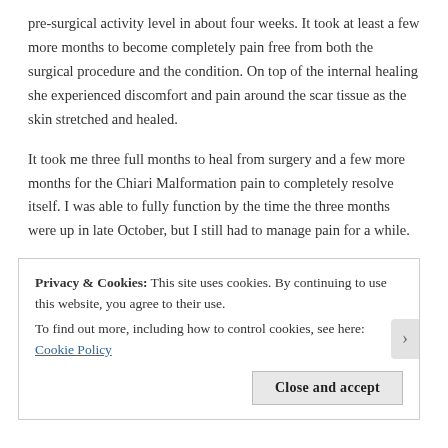pre-surgical activity level in about four weeks. It took at least a few more months to become completely pain free from both the surgical procedure and the condition. On top of the internal healing she experienced discomfort and pain around the scar tissue as the skin stretched and healed.
It took me three full months to heal from surgery and a few more months for the Chiari Malformation pain to completely resolve itself. I was able to fully function by the time the three months were up in late October, but I still had to manage pain for a while.
There are the psychological effects to keep in consideration, primarily depression. For my daughter, she had a hard time feeling positive and
Privacy & Cookies: This site uses cookies. By continuing to use this website, you agree to their use.
To find out more, including how to control cookies, see here: Cookie Policy